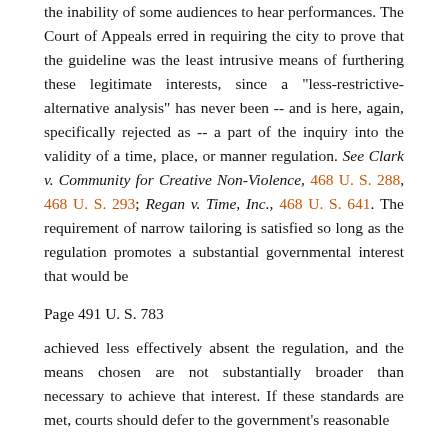the inability of some audiences to hear performances. The Court of Appeals erred in requiring the city to prove that the guideline was the least intrusive means of furthering these legitimate interests, since a "less-restrictive-alternative analysis" has never been -- and is here, again, specifically rejected as -- a part of the inquiry into the validity of a time, place, or manner regulation. See Clark v. Community for Creative Non-Violence, 468 U. S. 288, 468 U. S. 293; Regan v. Time, Inc., 468 U. S. 641. The requirement of narrow tailoring is satisfied so long as the regulation promotes a substantial governmental interest that would be
Page 491 U. S. 783
achieved less effectively absent the regulation, and the means chosen are not substantially broader than necessary to achieve that interest. If these standards are met, courts should defer to the government's reasonable